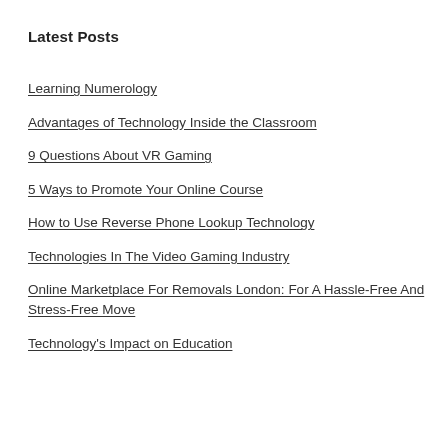Latest Posts
Learning Numerology
Advantages of Technology Inside the Classroom
9 Questions About VR Gaming
5 Ways to Promote Your Online Course
How to Use Reverse Phone Lookup Technology
Technologies In The Video Gaming Industry
Online Marketplace For Removals London: For A Hassle-Free And Stress-Free Move
Technology's Impact on Education